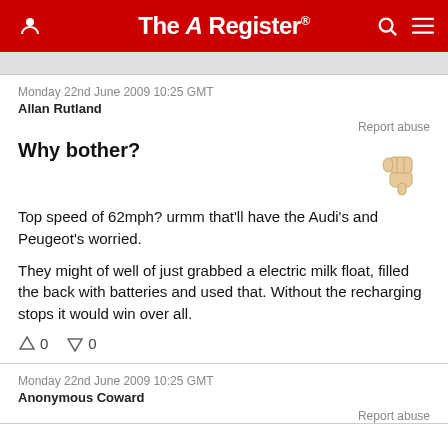The Register
Monday 22nd June 2009 10:25 GMT
Allan Rutland
Report abuse
Why bother?
Top speed of 62mph? urmm that'll have the Audi's and Peugeot's worried.

They might of well of just grabbed a electric milk float, filled the back with batteries and used that. Without the recharging stops it would win over all.
0  0
Monday 22nd June 2009 10:25 GMT
Anonymous Coward
Report abuse